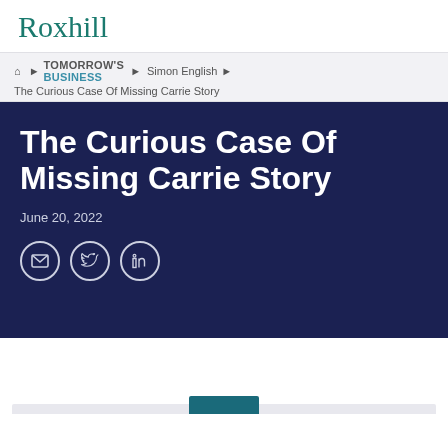Roxhill
Home › TOMORROW'S BUSINESS › Simon English ›
The Curious Case Of Missing Carrie Story
The Curious Case Of Missing Carrie Story
June 20, 2022
[Figure (illustration): Social share icons: email, Twitter, LinkedIn in circle outlines]